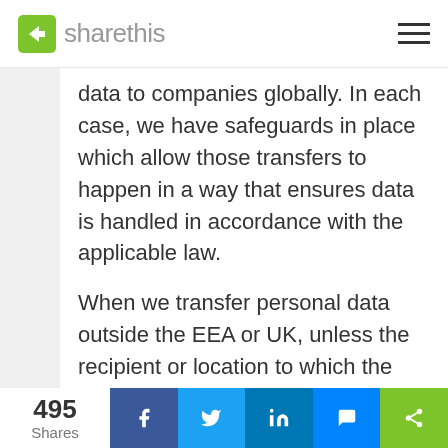sharethis
data to companies globally. In each case, we have safeguards in place which allow those transfers to happen in a way that ensures data is handled in accordance with the applicable law.
When we transfer personal data outside the EEA or UK, unless the recipient or location to which the data is transferred has been approved by the appropriate authorities as providing an adequate level of protection for personal data, we put in place measures to ensure that the transfer complies with t